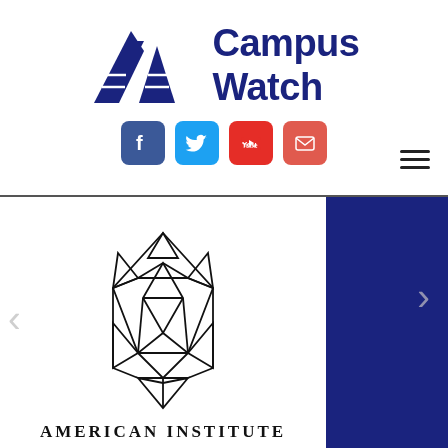[Figure (logo): Campus Watch logo with mountain/triangle shapes in dark navy blue and text 'Campus Watch']
[Figure (logo): Social media icons: Facebook (blue), Twitter (light blue), YouTube (red), Email/mail (orange-red)]
[Figure (logo): American Institute geometric star/hexagon logo outline, black on white, with text 'AMERICAN INSTITUTE' below]